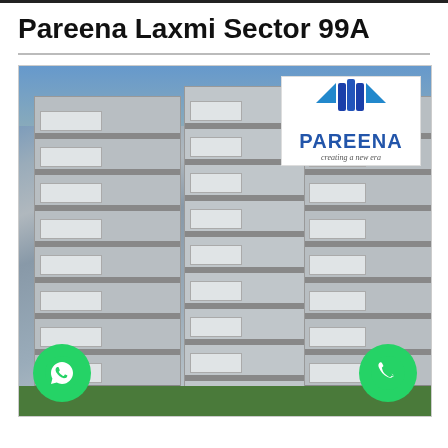Pareena Laxmi Sector 99A
[Figure (photo): Exterior rendering/photo of multi-storey residential apartment towers by Pareena (Pareena Laxmi Sector 99A). Three tall grey apartment buildings are shown with multiple balconies on each floor. The Pareena logo appears in a white box in the upper right corner of the photo with text 'PAREENA creating a new era'. Two green circular WhatsApp/phone call buttons appear at the bottom left and bottom right of the image.]